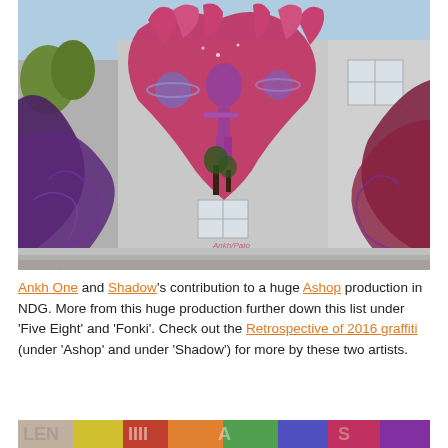[Figure (photo): Large mural painted on the side of a building in NDG. The mural features two large stylized hands with cosmic/space imagery including a figure and planets, rendered in shades of red, pink, purple, and dark tones against a grey building wall. Trees and blue sky visible in the background.]
Ankh One and Shadow's contribution to a huge Ashop production in NDG. More from this huge production further down this list under 'Five Eight' and 'Fonki'. Check out the Retrospective of 2016 graffiti (under 'Ashop' and under 'Shadow') for more by these two artists.
[Figure (photo): Partial view of another mural at the bottom of the page, showing colorful graffiti lettering and figures, partially cropped.]